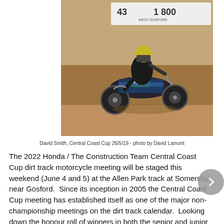[Figure (photo): A motocross/dirt track rider numbered 426 on a dirt bike mid-race, leaning into a turn on a dirt track. A banner in the background partially shows '43... 11 800 WEST GOSFORD'. The rider wears black and yellow gear.]
David Smith, Central Coast Cup 26/5/19 - photo by David Lamont
The 2022 Honda / The Construction Team Central Coast Cup dirt track motorcycle meeting will be staged this weekend (June 4 and 5) at the Allen Park track at Somersby, near Gosford. Since its inception in 2005 the Central Coast Cup meeting has established itself as one of the major non-championship meetings on the dirt track calendar. Looking down the honour roll of winners in both the senior and junior (13 to Under 16s) classes you quickly realise how significant the Central Coast Cup is. The senior class has been won by previous, or future, Australian champions and even a future